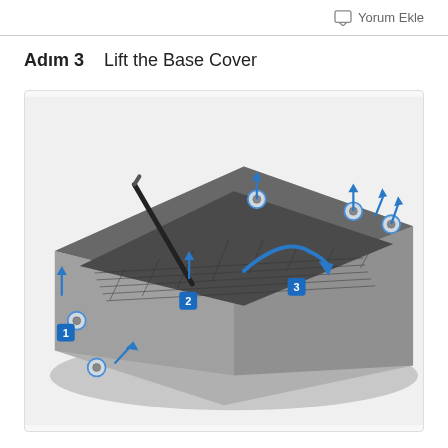Yorum Ekle
Adım 3   Lift the Base Cover
[Figure (engineering-diagram): Step 3 of a laptop disassembly guide showing how to lift the base cover. The image shows the bottom of a laptop in perspective view with a dark grey base panel partially lifted. Blue numbered squares (1, 2, 3) indicate the sequence of steps. Blue circular indicators show screw locations around the perimeter. Blue upward arrows indicate where to pry/lift the cover. A blue curved arrow (step 3) shows the direction to lift the corner of the base cover. A screwdriver tool is shown at step 2 position.]